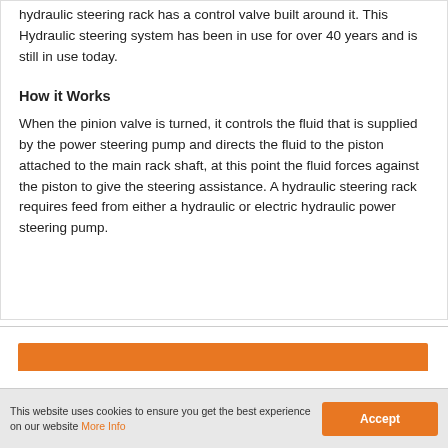hydraulic steering rack has a control valve built around it. This Hydraulic steering system has been in use for over 40 years and is still in use today.
How it Works
When the pinion valve is turned, it controls the fluid that is supplied by the power steering pump and directs the fluid to the piston attached to the main rack shaft, at this point the fluid forces against the piston to give the steering assistance. A hydraulic steering rack requires feed from either a hydraulic or electric hydraulic power steering pump.
[Figure (other): Orange banner/header area beginning at bottom of page, partially visible]
This website uses cookies to ensure you get the best experience on our website More Info